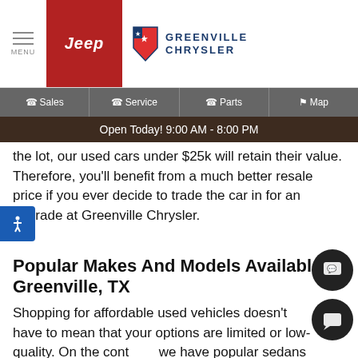MENU | Jeep | GREENVILLE CHRYSLER
Sales | Service | Parts | Map
Open Today! 9:00 AM - 8:00 PM
the lot, our used cars under $25k will retain their value. Therefore, you'll benefit from a much better resale price if you ever decide to trade the car in for an upgrade at Greenville Chrysler.
Popular Makes And Models Available In Greenville, TX
Shopping for affordable used vehicles doesn't have to mean that your options are limited or low-quality. On the contrary, we have popular sedans like the Honda Accord and Dodge Charger that are sure to get you where you're going in comfort and style. If you're looking for something larger, you can still find it for under $25,000 at Greenville Chrysler.